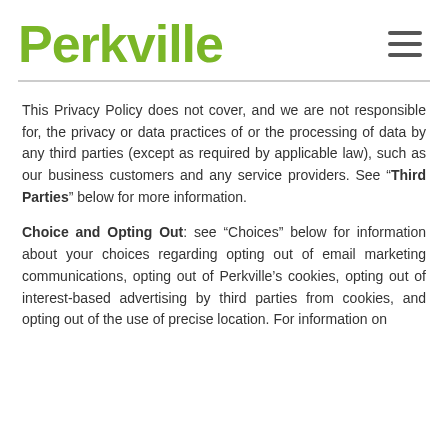Perkville
This Privacy Policy does not cover, and we are not responsible for, the privacy or data practices of or the processing of data by any third parties (except as required by applicable law), such as our business customers and any service providers. See “Third Parties” below for more information.
Choice and Opting Out: see “Choices” below for information about your choices regarding opting out of email marketing communications, opting out of Perkville’s cookies, opting out of interest-based advertising by third parties from cookies, and opting out of the use of precise location. For information on